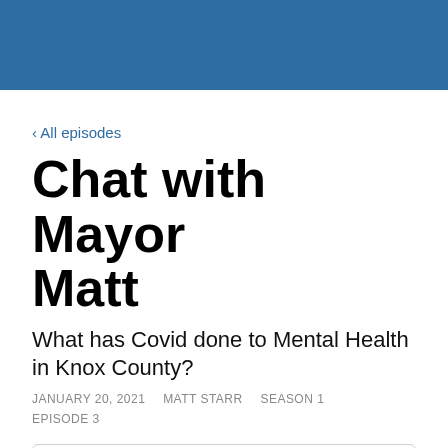[Figure (other): Blue header banner at top of page]
‹ All episodes
Chat with Mayor Matt
What has Covid done to Mental Health in Knox County?
JANUARY 20, 2021   MATT STARR   SEASON 1   EPISODE 3
[Figure (screenshot): Podcast player card showing 'Chat with Mayor Matt' and 'What has Covid done' episode title]